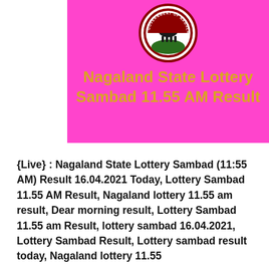[Figure (logo): Government of Nagaland emblem showing a bull/gaur inside a circular badge with red border and green base, with text 'GOVERNMENT OF NAGALAND' around the ring]
Nagaland State Lottery Sambad 11.55 AM Result
{Live} : Nagaland State Lottery Sambad (11:55 AM) Result 16.04.2021 Today, Lottery Sambad 11.55 AM Result, Nagaland lottery 11.55 am result, Dear morning result, Lottery Sambad 11.55 am Result, lottery sambad 16.04.2021, Lottery Sambad Result, Lottery sambad result today, Nagaland lottery 11.55